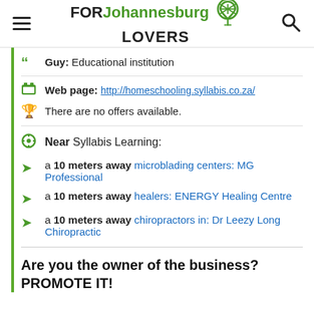FORJohannesburgLOVERS
Guy: Educational institution
Web page: http://homeschooling.syllabis.co.za/
There are no offers available.
Near Syllabis Learning:
a 10 meters away microblading centers: MG Professional
a 10 meters away healers: ENERGY Healing Centre
a 10 meters away chiropractors in: Dr Leezy Long Chiropractic
Are you the owner of the business? PROMOTE IT!